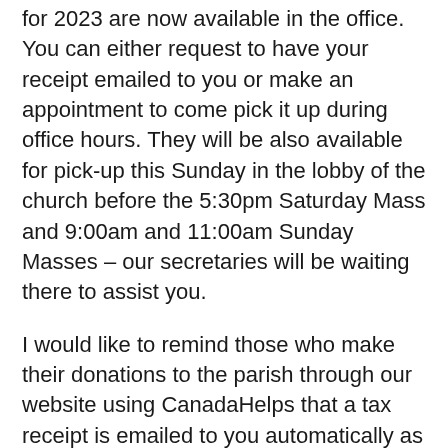for 2023 are now available in the office. You can either request to have your receipt emailed to you or make an appointment to come pick it up during office hours. They will be also available for pick-up this Sunday in the lobby of the church before the 5:30pm Saturday Mass and 9:00am and 11:00am Sunday Masses – our secretaries will be waiting there to assist you.
I would like to remind those who make their donations to the parish through our website using CanadaHelps that a tax receipt is emailed to you automatically as a PDF life each time you donate, and is not recorded in our parish system.
Beginning tonight, the Stations of the Cross will be held at the church on each Friday of Lent at